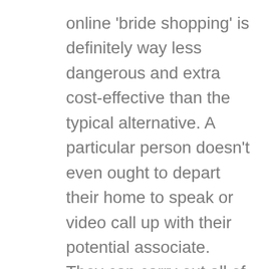online ‘bride shopping’ is definitely way less dangerous and extra cost-effective than the typical alternative. A particular person doesn’t even ought to depart their home to speak or video call up with their potential associate. They can carry out all of the relationship actions in the consolation of their houses. If you are just like tons of of thousand other individuals who undergo from stress, this product is ideal for you.
If she has applied for a day to day Green Card following getting MGC, she could simply divorce you and copy out. Yet, the divorce rate of intenational marriage is normally immensely low, so the probability of this case happening are extremely low. Stick to neutral matters and don’t bring anything that might start a debate. Simply just center your dialog around the date and easily take pleasure in your time and efforts with a decent lady! Possibly should